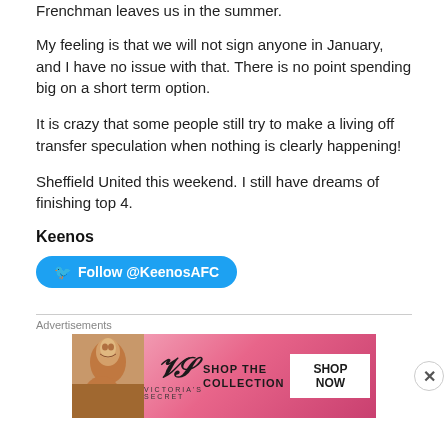Frenchman leaves us in the summer.
My feeling is that we will not sign anyone in January, and I have no issue with that. There is no point spending big on a short term option.
It is crazy that some people still try to make a living off transfer speculation when nothing is clearly happening!
Sheffield United this weekend. I still have dreams of finishing top 4.
Keenos
Follow @KeenosAFC
Advertisements
[Figure (other): Victoria's Secret advertisement banner with model, VS logo, 'SHOP THE COLLECTION' text and 'SHOP NOW' button]